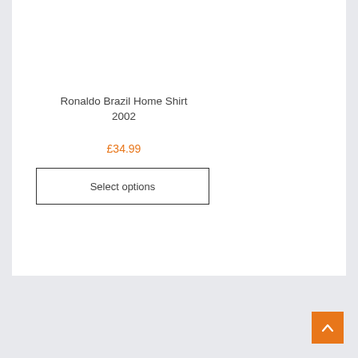Ronaldo Brazil Home Shirt 2002
£34.99
Select options
[Figure (other): Orange back-to-top arrow button in bottom right corner]